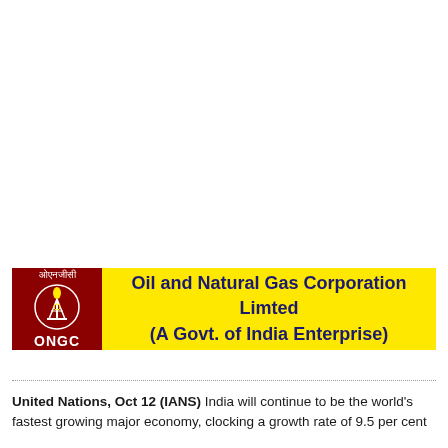[Figure (logo): ONGC logo banner with yellow background, dark red logo block on left showing ONGC emblem with Hindi text 'ओएनजीसी' and circular oil derrick graphic, and centered bold navy text reading 'Oil and Natural Gas Corporation Limted (A Govt. of India Enterprise)']
United Nations, Oct 12 (IANS) India will continue to be the world's fastest growing major economy, clocking a growth rate of 9.5 per cent